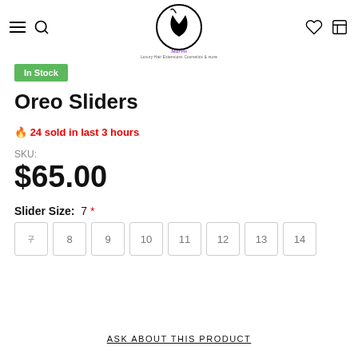Navigation header with hamburger menu, search icon, logo (Marvis – Luxury Hair Extensions Cosmetics & more), heart icon, and cart icon
In Stock
Oreo Sliders
🔥 24 sold in last 3 hours
SKU:
$65.00
Slider Size: 7 *
7  8  9  10  11  12  13  14
ASK ABOUT THIS PRODUCT